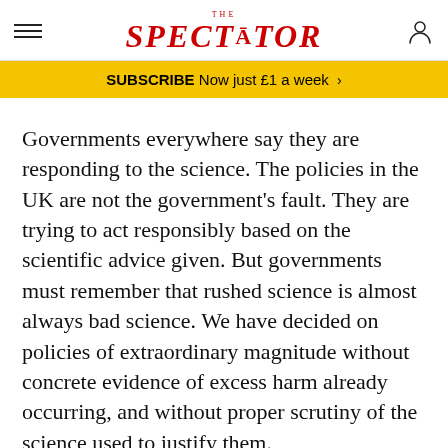THE SPECTATOR
SUBSCRIBE Now just £1 a week >
Governments everywhere say they are responding to the science. The policies in the UK are not the government's fault. They are trying to act responsibly based on the scientific advice given. But governments must remember that rushed science is almost always bad science. We have decided on policies of extraordinary magnitude without concrete evidence of excess harm already occurring, and without proper scrutiny of the science used to justify them.
In the next few days and weeks, we must continue to look critically and dispassionately at the Covid-